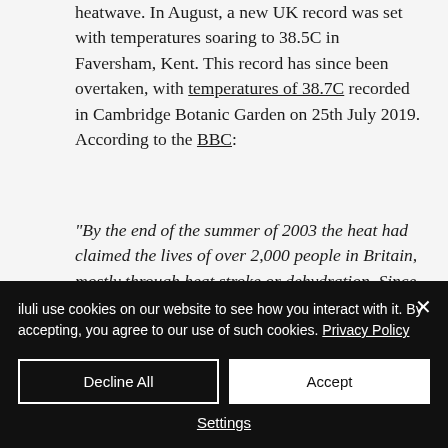heatwave. In August, a new UK record was set with temperatures soaring to 38.5C in Faversham, Kent. This record has since been overtaken, with temperatures of 38.7C recorded in Cambridge Botanic Garden on 25th July 2019. According to the BBC:
“By the end of the summer of 2003 the heat had claimed the lives of over 2,000 people in Britain, mostly through heat stroke or dehydration. Since then the government Heat-Health Watch system warns if the forecast for daytime temperatures is 30C or above and 15C at night.”
iluli use cookies on our website to see how you interact with it. By accepting, you agree to our use of such cookies. Privacy Policy
Decline All
Accept
Settings